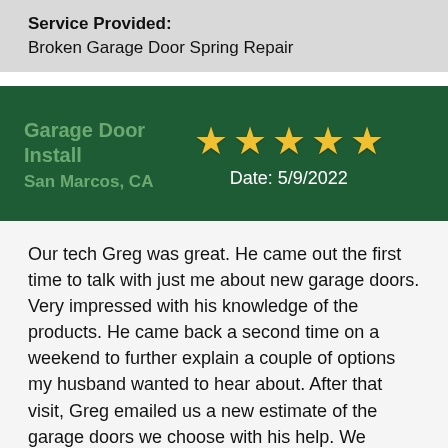Service Provided: Broken Garage Door Spring Repair
[Figure (infographic): Green review card header showing business name 'Garage Door Install', location 'San Marcos, CA', five gold stars, and date '5/9/2022']
Our tech Greg was great. He came out the first time to talk with just me about new garage doors. Very impressed with his knowledge of the products. He came back a second time on a weekend to further explain a couple of options my husband wanted to hear about. After that visit, Greg emailed us a new estimate of the garage doors we choose with his help. We